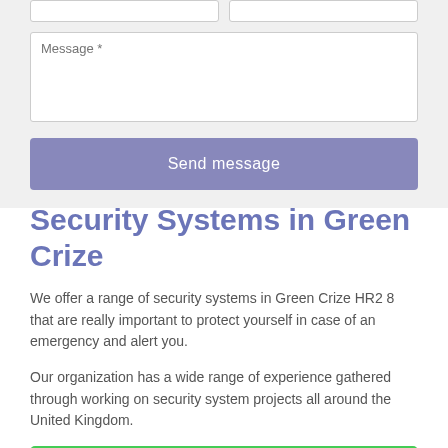[Figure (screenshot): Web form with two input fields side by side, a message textarea, and a 'Send message' button on a light grey background]
Security Systems in Green Crize
We offer a range of security systems in Green Crize HR2 8 that are really important to protect yourself in case of an emergency and alert you.
Our organization has a wide range of experience gathered through working on security system projects all around the United Kingdom.
ENQUIRE TODAY FOR BEST RATES